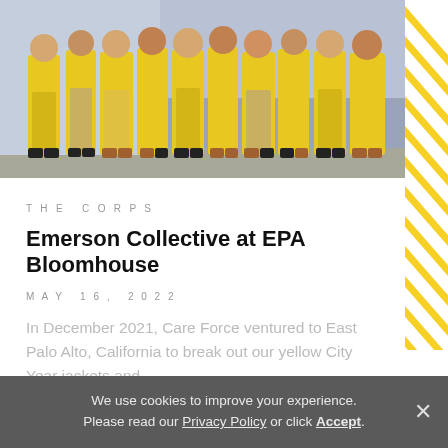[Figure (photo): Group of people wearing yellow City Year jackets standing together, photographed from roughly waist down, in front of a light blue/grey background.]
THE CORPS
Emerson Collective at EPA Bloomhouse
MAY 16, 2022
In December 2021, Care Force ventured to East Palo Alto, California to break out our yellow City Year jackets and...
Read the story
We use cookies to improve your experience. Please read our Privacy Policy or click Accept.